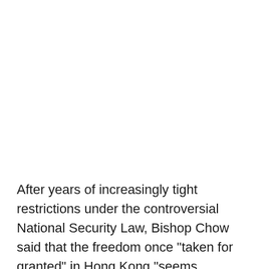After years of increasingly tight restrictions under the controversial National Security Law, Bishop Chow said that the freedom once "taken for granted" in Hong Kong "seems diminishing".